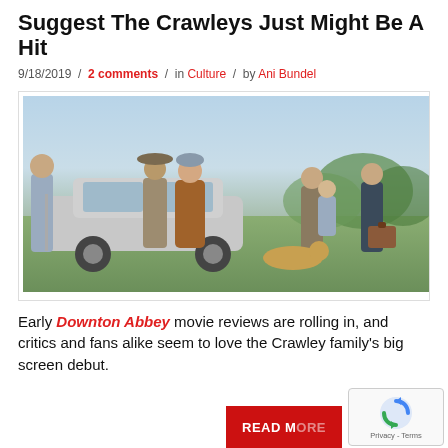Suggest The Crawleys Just Might Be A Hit
9/18/2019 / 2 comments / in Culture / by Ani Bundel
[Figure (photo): Cast of Downton Abbey movie posing near a car on an estate grounds, period costumes from the 1920s-1930s]
Early Downton Abbey movie reviews are rolling in, and critics and fans alike seem to love the Crawley family's big screen debut.